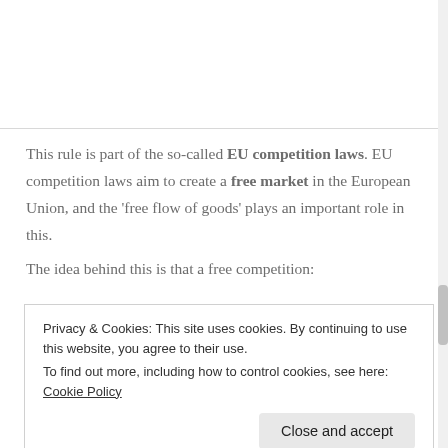This rule is part of the so-called EU competition laws. EU competition laws aim to create a free market in the European Union, and the 'free flow of goods' plays an important role in this.
The idea behind this is that a free competition:
Privacy & Cookies: This site uses cookies. By continuing to use this website, you agree to their use. To find out more, including how to control cookies, see here: Cookie Policy
of goods, to protect the image of their brands, or to